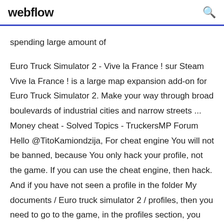webflow
spending large amount of
Euro Truck Simulator 2 - Vive la France ! sur Steam Vive la France ! is a large map expansion add-on for Euro Truck Simulator 2. Make your way through broad boulevards of industrial cities and narrow streets ... Money cheat - Solved Topics - TruckersMP Forum Hello @TitoKamiondzija, For cheat engine You will not be banned, because You only hack your profile, not the game. If you can use the cheat engine, then hack. And if you have not seen a profile in the folder My documents / Euro truck simulator 2 / profiles, then you need to go to the game, in the profiles section, you click on a profile